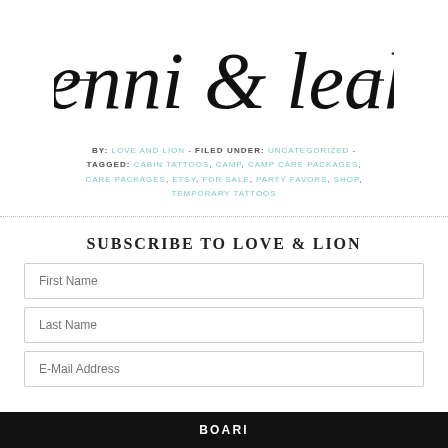jenni & leah
BY: LOVE AND LION - FILED UNDER: UNCATEGORIZED - TAGGED: CABIN TATTOOS, CAMP, CAMP CARE PACKAGES, CARE PACKAGES, ETSY, FOR SALE, PARTY FAVORS, SHOP, TEMPORARY TATTOOS
SUBSCRIBE TO LOVE & LION
First Name
Last Name
E-Mail Address
BOARD